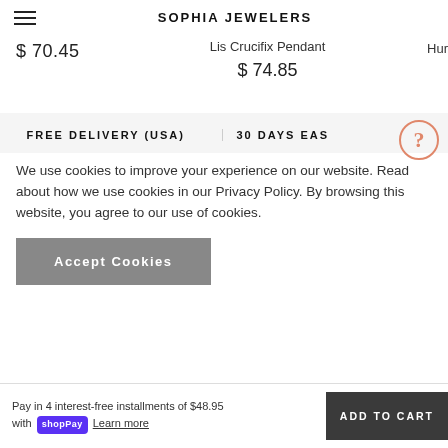SOPHIA JEWELERS
$ 70.45
Lis Crucifix Pendant
$ 74.85
Hur
[Figure (other): Help/question mark circle icon in orange/salmon color]
FREE DELIVERY (USA)
30 DAYS EAS
We use cookies to improve your experience on our website. Read about how we use cookies in our Privacy Policy. By browsing this website, you agree to our use of cookies.
Accept Cookies
Pay in 4 interest-free installments of $48.95 with Shop Pay Learn more
ADD TO CART